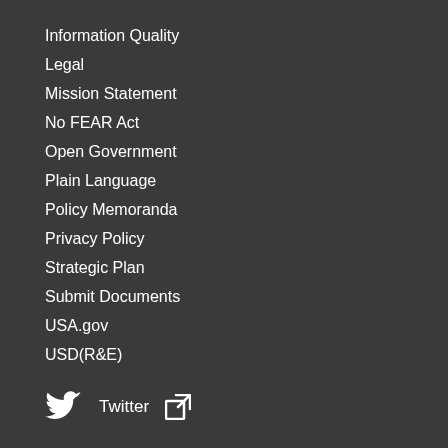Information Quality
Legal
Mission Statement
No FEAR Act
Open Government
Plain Language
Policy Memoranda
Privacy Policy
Strategic Plan
Submit Documents
USA.gov
USD(R&E)
Twitter